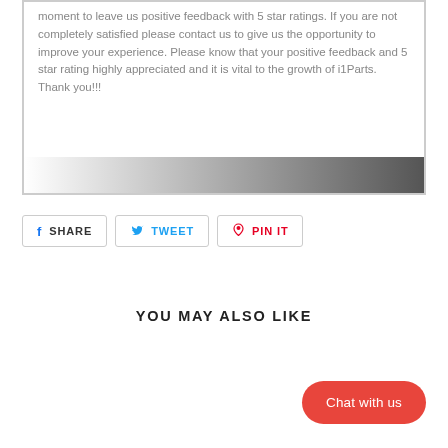moment to leave us positive feedback with 5 star ratings. If you are not completely satisfied please contact us to give us the opportunity to improve your experience. Please know that your positive feedback and 5 star rating highly appreciated and it is vital to the growth of i1Parts. Thank you!!!
[Figure (other): A horizontal gradient bar transitioning from white on the left to dark gray on the right]
SHARE
TWEET
PIN IT
YOU MAY ALSO LIKE
Chat with us